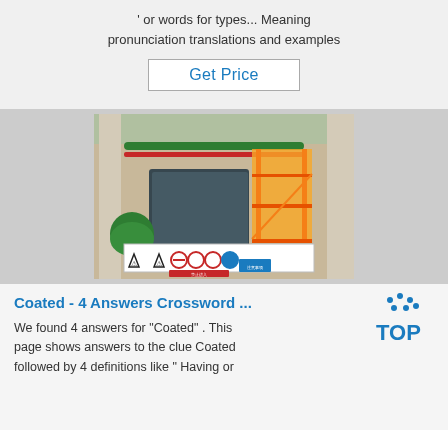' or words for types... Meaning pronunciation translations and examples
Get Price
[Figure (photo): Industrial factory interior with green and red overhead pipes, yellow metal staircases, large machinery, and safety warning signs along a railing at the bottom.]
Coated - 4 Answers Crossword ...
We found 4 answers for "Coated" . This page shows answers to the clue Coated followed by 4 definitions like " Having or
[Figure (logo): TOP button with blue dot pattern above the text TOP in blue]